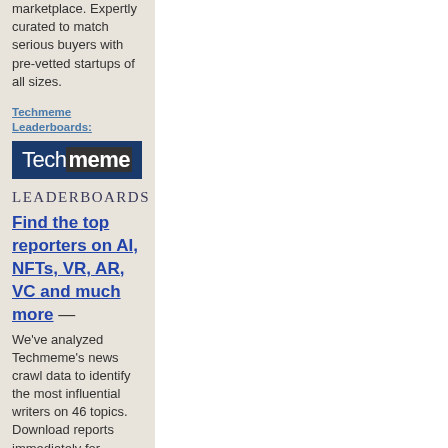marketplace. Expertly curated to match serious buyers with pre-vetted startups of all sizes.
Techmeme Leaderboards:
[Figure (logo): Techmeme logo — dark blue background with 'Tech' in white normal weight and 'meme' in white bold on dark grey background]
LEADERBOARDS
Find the top reporters on AI, NFTs, VR, AR, VC and much more — We've analyzed Techmeme's news crawl data to identify the most influential writers on 46 topics. Download reports immediately for